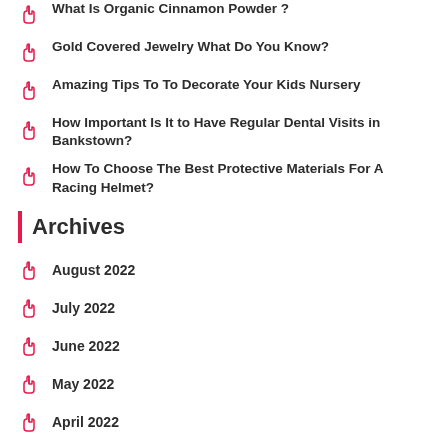What Is Organic Cinnamon Powder ?
Gold Covered Jewelry What Do You Know?
Amazing Tips To To Decorate Your Kids Nursery
How Important Is It to Have Regular Dental Visits in Bankstown?
How To Choose The Best Protective Materials For A Racing Helmet?
Archives
August 2022
July 2022
June 2022
May 2022
April 2022
March 2022
February 2022